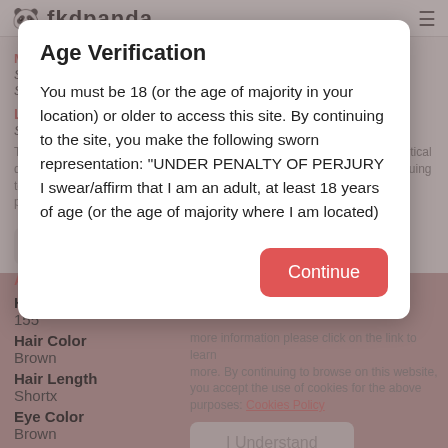[Figure (screenshot): Background website page showing fkdpanda profile with fields: Marital Status, Languages Spoken (Spanish, English, Portuguese), Appearance, Height 155, Hair Color Brown, Hair Length Shortx, Eye Color Brown, Ethnicity. Cookie consent banner visible in background.]
Age Verification
You must be 18 (or the age of majority in your location) or older to access this site. By continuing to the site, you make the following sworn representation: "UNDER PENALTY OF PERJURY I swear/affirm that I am an adult, at least 18 years of age (or the age of majority where I am located)